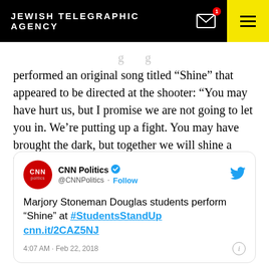JEWISH TELEGRAPHIC AGENCY
performed an original song titled “Shine” that appeared to be directed at the shooter: “You may have hurt us, but I promise we are not going to let you in. We’re putting up a fight. You may have brought the dark, but together we will shine a light, and we will be something special. We’re going to shine, shine.”
[Figure (screenshot): Embedded tweet from CNN Politics (@CNNPolitics) with verified checkmark and Follow button. Tweet text: Marjory Stoneman Douglas students perform “Shine” at #StudentsStandUp cnn.it/2CAZ5NJ. Timestamp: 4:07 AM · Feb 22, 2018. Twitter bird icon top right. CNN politics logo (red circle) top left.]